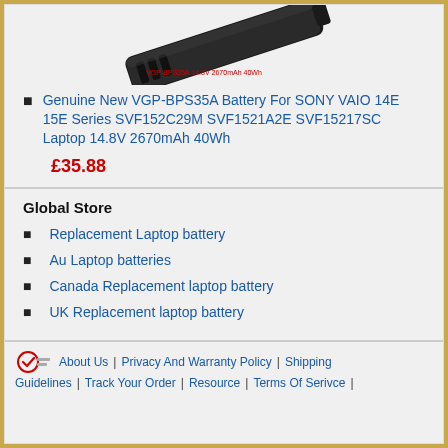[Figure (photo): Black laptop battery (VGP-BPS35A) shown at an angle with a red text label reading 'VGP-BPS35A 14.8V 2670mAh 40Wh']
Genuine New VGP-BPS35A Battery For SONY VAIO 14E 15E Series SVF152C29M SVF1521A2E SVF15217SC Laptop 14.8V 2670mAh 40Wh
£35.88
Global Store
Replacement Laptop battery
Au Laptop batteries
Canada Replacement laptop battery
UK Replacement laptop battery
About Us | Privacy And Warranty Policy | Shipping Guidelines | Track Your Order | Resource | Terms Of Serivce |